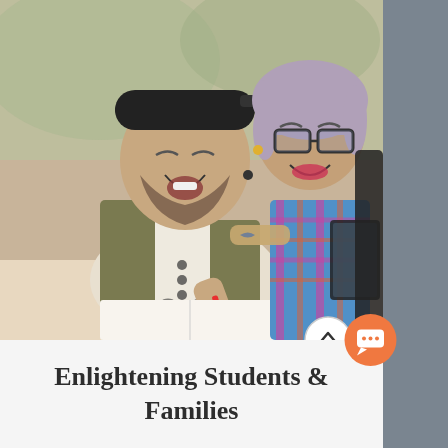[Figure (photo): Two students laughing and studying together. A young man with a backwards baseball cap and beard is in the foreground, laughing and holding a pencil over a book. A young woman with glasses and colorful plaid shirt is in the background, also laughing. They appear to be at a table with books and a tablet.]
Enlightening Students & Families